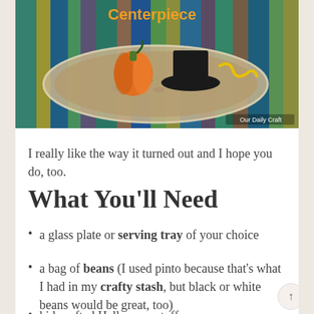[Figure (photo): A Halloween centerpiece craft with a glass plate filled with pinto beans, an orange pumpkin decoration, and a black hat, with colorful striped fabric visible underneath. Text overlay reads 'Centerpiece' and watermark 'Our Daily Craft'.]
I really like the way it turned out and I hope you do, too.
What You'll Need
a glass plate or serving tray of your choice
a bag of beans (I used pinto because that's what I had in my crafty stash, but black or white beans would be great, too)
kid-crafted Halloween stuff